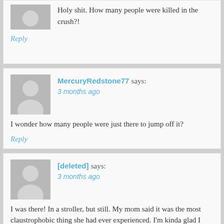Holy shit. How many people were killed in the crush?!
Reply
MercuryRedstone77 says: 3 months ago
I wonder how many people were just there to jump off it?
Reply
[deleted] says: 3 months ago
I was there! In a stroller, but still. My mom said it was the most claustrophobic thing she had ever experienced. I'm kinda glad I don't remember.